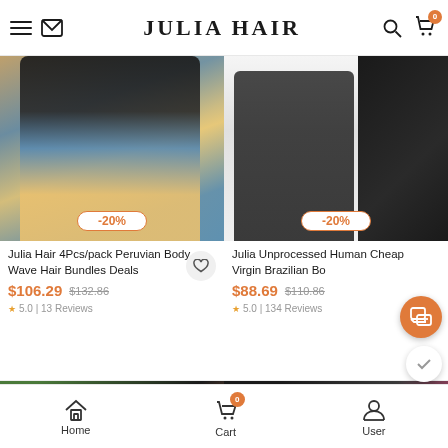JULIA HAIR
[Figure (photo): Woman with wavy dark hair wearing denim jacket and floral dress]
-20%
Julia Hair 4Pcs/pack Peruvian Body Wave Hair Bundles Deals
$106.29  $132.86  5.0 | 13 Reviews
[Figure (photo): Woman with long wavy hair and bundle of Brazilian body wave hair]
-20%
Julia Unprocessed Human Cheap Virgin Brazilian Bo
$88.69  $110.86  5.0 | 134 Reviews
[Figure (photo): Partial product images in bottom row]
Home  Cart  User